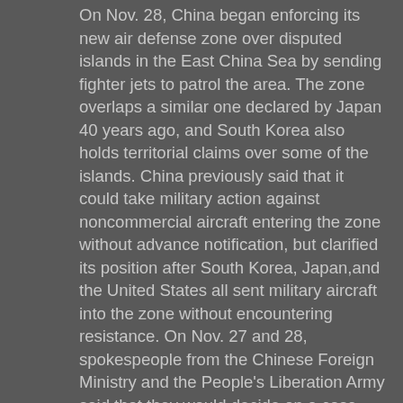On Nov. 28, China began enforcing its new air defense zone over disputed islands in the East China Sea by sending fighter jets to patrol the area. The zone overlaps a similar one declared by Japan 40 years ago, and South Korea also holds territorial claims over some of the islands. China previously said that it could take military action against noncommercial aircraft entering the zone without advance notification, but clarified its position after South Korea, Japan,and the United States all sent military aircraft into the zone without encountering resistance. On Nov. 27 and 28, spokespeople from the Chinese Foreign Ministry and the People's Liberation Army said that they would decide on a case-by-case basis the type of action China would take if aircraft entered the zone, and stressed that military action would not ensue immediately.